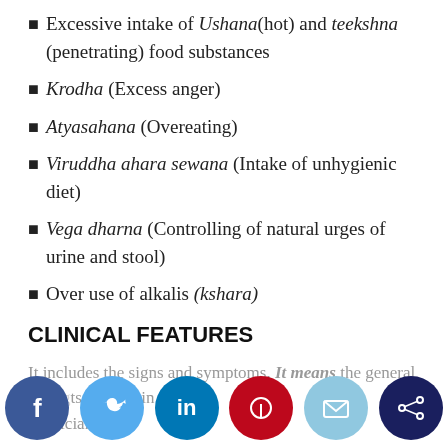Excessive intake of Ushana(hot) and teekshna (penetrating) food substances
Krodha (Excess anger)
Atyasahana (Overeating)
Viruddha ahara sewana (Intake of unhygienic diet)
Vega dharna (Controlling of natural urges of urine and stool)
Over use of alkalis (kshara)
CLINICAL FEATURES
It includes the signs and symptoms. It means the general complaints of patient, in the form of a complaint of physician.